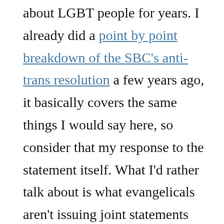about LGBT people for years. I already did a point by point breakdown of the SBC's anti-trans resolution a few years ago, it basically covers the same things I would say here, so consider that my response to the statement itself. What I'd rather talk about is what evangelicals aren't issuing joint statements condemning, namely, white nationalism. Their silence in the face of the rising tide of fascism and white supremacy in this country is deafening.